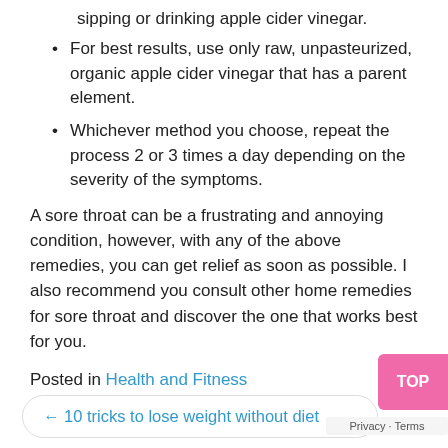sipping or drinking apple cider vinegar.
For best results, use only raw, unpasteurized, organic apple cider vinegar that has a parent element.
Whichever method you choose, repeat the process 2 or 3 times a day depending on the severity of the symptoms.
A sore throat can be a frustrating and annoying condition, however, with any of the above remedies, you can get relief as soon as possible. I also recommend you consult other home remedies for sore throat and discover the one that works best for you.
Posted in Health and Fitness
← 10 tricks to lose weight without diet